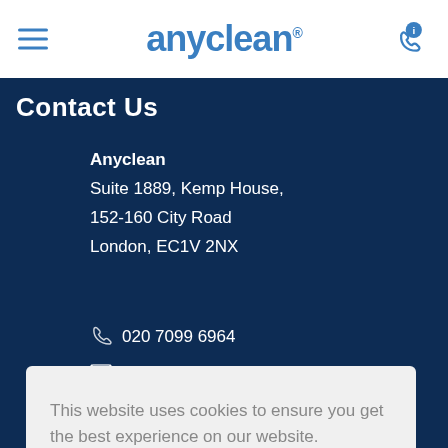anyclean®
Contact Us
Anyclean
Suite 1889, Kemp House,
152-160 City Road
London, EC1V 2NX
020 7099 6964
info@anyclean.co.uk
This website uses cookies to ensure you get the best experience on our website.
Cookie policy
Got it!